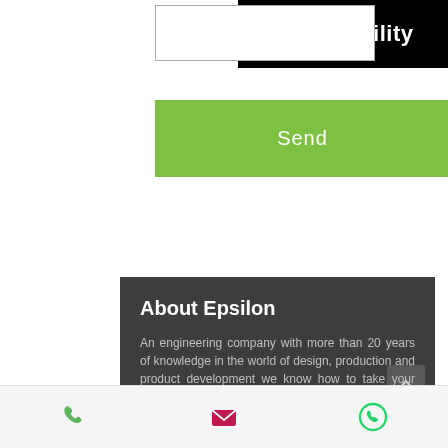Accessibility
[Figure (screenshot): Input text field box]
[Figure (screenshot): Green Send button]
About Epsilon
An engineering company with more than 20 years of knowledge in the world of design, production and product development we know how to take your idea and turn it into a winning product . With our end to end solution and hundreds of global projects in a wide range of industries Epsilon knows how to make you stand out from the rest and bring you to a safe shore.
Phone | Email | WhatsApp icons